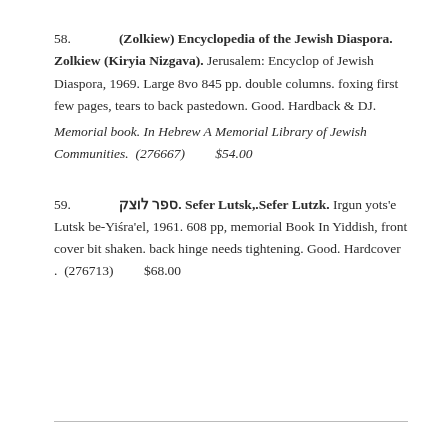58. (Zolkiew) Encyclopedia of the Jewish Diaspora. Zolkiew (Kiryia Nizgava). Jerusalem: Encyclop of Jewish Diaspora, 1969. Large 8vo 845 pp. double columns. foxing first few pages, tears to back pastedown. Good. Hardback & DJ. Memorial book. In Hebrew A Memorial Library of Jewish Communities. (276667) $54.00
59. ספר לוצק. Sefer Lutsk,.Sefer Lutzk. Irgun yots'e Lutsk be-Yiśra'el, 1961. 608 pp, memorial Book In Yiddish, front cover bit shaken. back hinge needs tightening. Good. Hardcover . (276713) $68.00